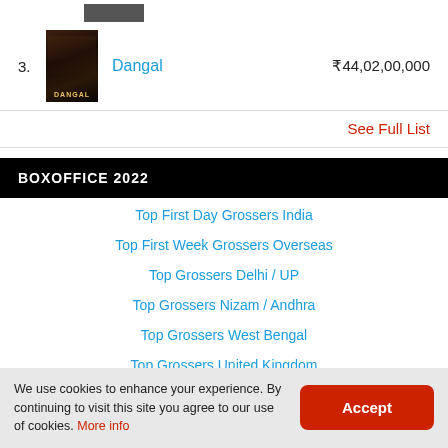[Figure (photo): Partial movie poster thumbnail at top]
3. Dangal ₹44,02,00,000
See Full List
BOXOFFICE 2022
Top First Day Grossers India
Top First Week Grossers Overseas
Top Grossers Delhi / UP
Top Grossers Nizam / Andhra
Top Grossers West Bengal
Top Grossers United Kingdom
We use cookies to enhance your experience. By continuing to visit this site you agree to our use of cookies. More info